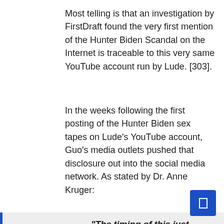Most telling is that an investigation by FirstDraft found the very first mention of the Hunter Biden Scandal on the Internet is traceable to this very same YouTube account run by Lude. [303].
In the weeks following the first posting of the Hunter Biden sex tapes on Lude's YouTube account, Guo's media outlets pushed that disclosure out into the social media network. As stated by Dr. Anne Kruger:
“The timing of this just weeks out from the election at a crucial time in the US [election] campaign, shows that this has been planned and there’s been some coordination here to do maximum damage